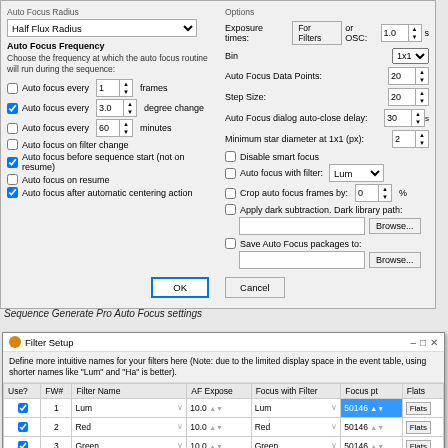[Figure (screenshot): Sequence Generator Pro Auto Focus settings dialog showing left panel with Auto Focus Radius dropdown set to 'Half Flux Radius', Auto Focus Frequency options with checkboxes, and right panel with Options including Exposure times, Bin, Auto Focus Data Points, Step Size, dialog settings, and checkboxes for smart focus, filter, crop, dark subtraction, and save packages. OK and Cancel buttons at bottom.]
Sequence Generate Pro Auto Focus settings
[Figure (screenshot): Filter Setup dialog showing a table with columns Use?, FW#, Filter Name, AF Expose, Focus with Filter, Focus pt, Flats. Four rows: 1-Lum, 2-Red, 3-Green, 4-Blue, all checked, all with AF Expose 10.0, Focus pt 50146, with Flats buttons.]